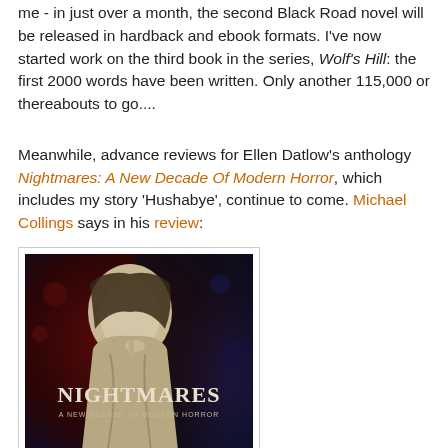me - in just over a month, the second Black Road novel will be released in hardback and ebook formats. I've now started work on the third book in the series, Wolf's Hill: the first 2000 words have been written. Only another 115,000 or thereabouts to go....
Meanwhile, advance reviews for Ellen Datlow's anthology Nightmares: A New Decade Of Modern Horror, which includes my story 'Hushabye', continue to come. Michael Collings says in his review:
[Figure (photo): Book cover of 'Nightmares: A New Decade of Modern Horror' - dark red/blue background with a pale hooded figure holding a finger to their lips. Text reads: NIGHTMARES / A NEW DECADE OF MODERN HORROR / GARTH NIX, RICHARD KADREY, GENE WOLFE]